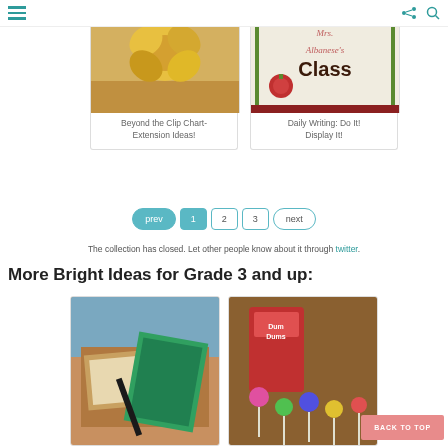≡ [menu] [share] [search]
[Figure (photo): Gold flower clip art / decoration image]
[Figure (photo): Mrs. Albanese's Class blog header image with apple and decorative borders]
Beyond the Clip Chart- Extension Ideas!
Daily Writing: Do It! Display It!
prev 1 2 3 next
The collection has closed. Let other people know about it through twitter.
More Bright Ideas for Grade 3 and up:
[Figure (photo): Student desk with books and ruler photo]
[Figure (photo): Dum Dums candy box with lollipops on a table]